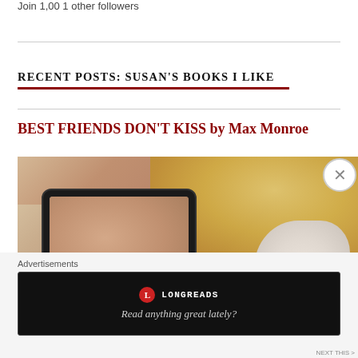Join 1,00 1 other followers
RECENT POSTS: SUSAN'S BOOKS I LIKE
BEST FRIENDS DON'T KISS by Max Monroe
[Figure (photo): Book cover photo for BEST FRIENDS DON'T KISS showing a couple embracing/kissing, with a tablet device overlay displaying the same image, and pink BEST text at the bottom left]
Advertisements
[Figure (logo): Longreads advertisement banner with red circle L logo, LONGREADS text, and tagline 'Read anything great lately?' on a black background]